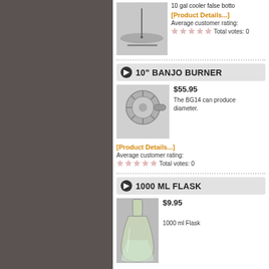10 gal cooler false botto
[Product Details...]
Average customer rating:
Total votes: 0
10" BANJO BURNER
$55.95
The BG14 can produce diameter.
[Product Details...]
Average customer rating:
Total votes: 0
1000 ML FLASK
$9.95
1000 ml Flask